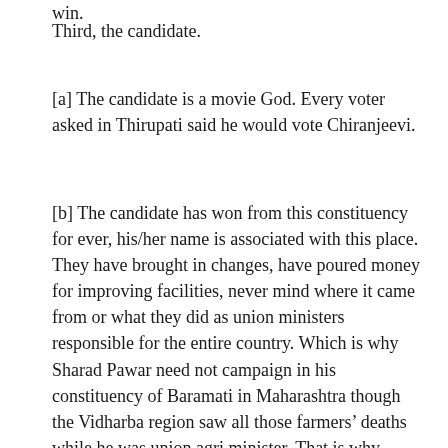win.
Third, the candidate.
[a] The candidate is a movie God. Every voter asked in Thirupati said he would vote Chiranjeevi.
[b] The candidate has won from this constituency for ever, his/her name is associated with this place. They have brought in changes, have poured money for improving facilities, never mind where it came from or what they did as union ministers responsible for the entire country. Which is why Sharad Pawar need not campaign in his constituency of Baramati in Maharashtra though the Vidharba region saw all those farmers’ deaths while he was union agri minister. That is why Renuka Choudhry is confident of winning her Khammam seat though safety of women and children has never been so bad as it is now. She was union minister for Women and Child welfare. That is why Arjun Singh won again and again while